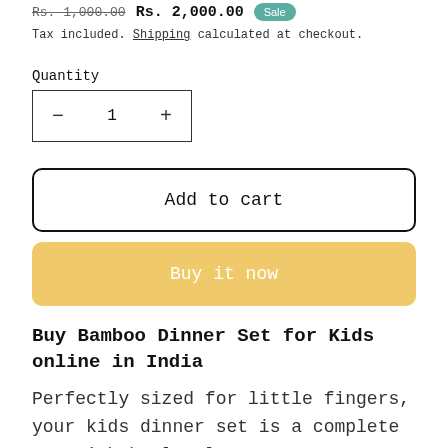Rs. 1,000.00  Rs. 2,000.00  Sale
Tax included. Shipping calculated at checkout.
Quantity
− 1 +
Add to cart
Buy it now
Buy Bamboo Dinner Set for Kids online in India
Perfectly sized for little fingers, your kids dinner set is a complete set with bowl, plate, cup, spoon and fork.